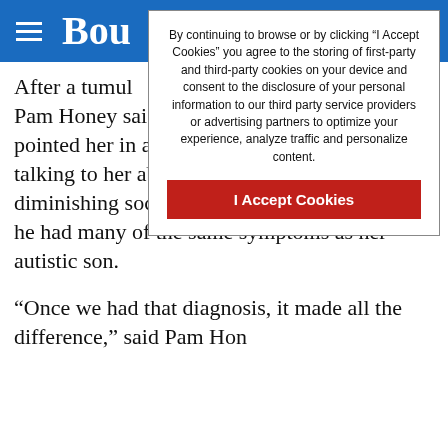Bou
By continuing to browse or by clicking “I Accept Cookies” you agree to the storing of first-party and third-party cookies on your device and consent to the disclosure of your personal information to our third party service providers or advertising partners to optimize your experience, analyze traffic and personalize content.
I Accept Cookies
After a tumul diagnosis and Pam Honey said a meeting with a friend pointed her in a different direction. She was talking to her about Jordan Honey’s quickly diminishing social skills when her friend said he had many of the same symptoms as her autistic son.
“Once we had that diagnosis, it made all the difference,” said Pam Hon…